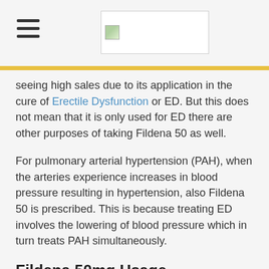[hamburger menu icon] [logo image]
seeing high sales due to its application in the cure of Erectile Dysfunction or ED. But this does not mean that it is only used for ED there are other purposes of taking Fildena 50 as well.
For pulmonary arterial hypertension (PAH), when the arteries experience increases in blood pressure resulting in hypertension, also Fildena 50 is prescribed. This is because treating ED involves the lowering of blood pressure which in turn treats PAH simultaneously.
Fildena 50mg Usage